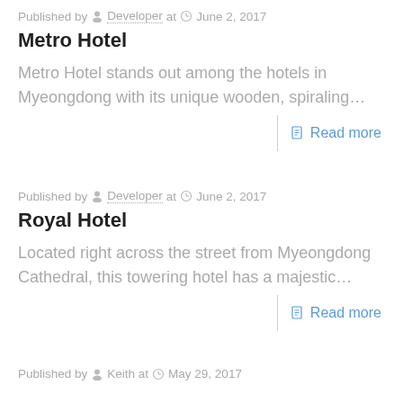Published by Developer at June 2, 2017
Metro Hotel
Metro Hotel stands out among the hotels in Myeongdong with its unique wooden, spiraling…
Read more
Published by Developer at June 2, 2017
Royal Hotel
Located right across the street from Myeongdong Cathedral, this towering hotel has a majestic…
Read more
Published by Keith at May 29, 2017